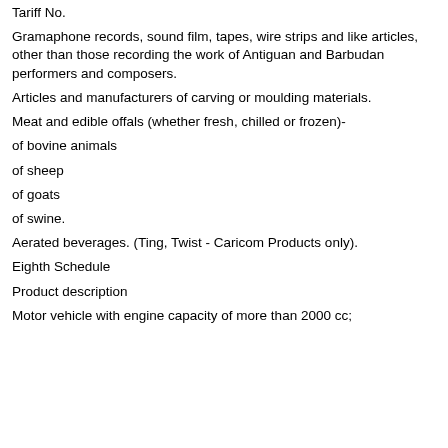Tariff No.
Gramaphone records, sound film, tapes, wire strips and like articles, other than those recording the work of Antiguan and Barbudan performers and composers.
Articles and manufacturers of carving or moulding materials.
Meat and edible offals (whether fresh, chilled or frozen)-
of bovine animals
of sheep
of goats
of swine.
Aerated beverages. (Ting, Twist - Caricom Products only).
Eighth Schedule
Product description
Motor vehicle with engine capacity of more than 2000 cc;